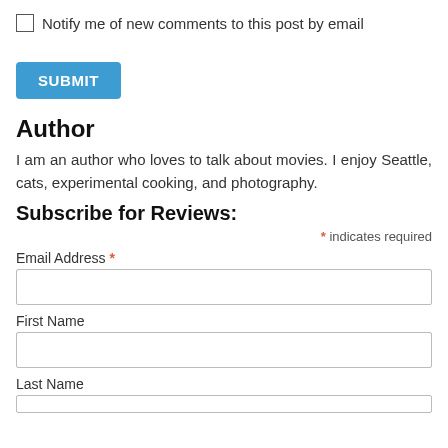Notify me of new comments to this post by email
SUBMIT
Author
I am an author who loves to talk about movies. I enjoy Seattle, cats, experimental cooking, and photography.
Subscribe for Reviews:
* indicates required
Email Address *
First Name
Last Name